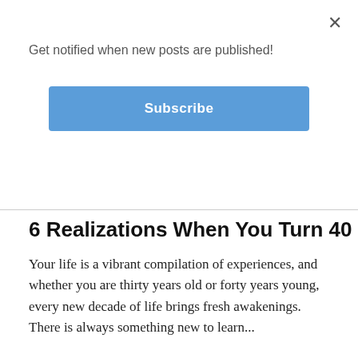×
Get notified when new posts are published!
Subscribe
6 Realizations When You Turn 40
Your life is a vibrant compilation of experiences, and whether you are thirty years old or forty years young, every new decade of life brings fresh awakenings. There is always something new to learn...
[Figure (photo): Person sitting at the edge of an infinity pool with arms raised forming a heart shape, lush green forested hills and overcast sky in background.]